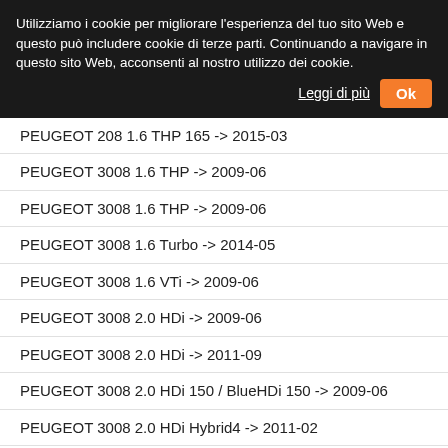Utilizziamo i cookie per migliorare l'esperienza del tuo sito Web e questo può includere cookie di terze parti. Continuando a navigare in questo sito Web, acconsenti al nostro utilizzo dei cookie.
Leggi di più   Ok
PEUGEOT 208 1.6 THP 165 -> 2015-03
PEUGEOT 3008 1.6 THP -> 2009-06
PEUGEOT 3008 1.6 THP -> 2009-06
PEUGEOT 3008 1.6 Turbo -> 2014-05
PEUGEOT 3008 1.6 VTi -> 2009-06
PEUGEOT 3008 2.0 HDi -> 2009-06
PEUGEOT 3008 2.0 HDi -> 2011-09
PEUGEOT 3008 2.0 HDi 150 / BlueHDi 150 -> 2009-06
PEUGEOT 3008 2.0 HDi Hybrid4 -> 2011-02
PEUGEOT 301 1.6 VTi 115 -> 2012-11
PEUGEOT 307 (3A/C) 1.4 -> 2000-08
PEUGEOT 307 (3A/C) 1.4 16V -> 2003-11
PEUGEOT 307 (3A/C) 1.6 16V -> 2000-08